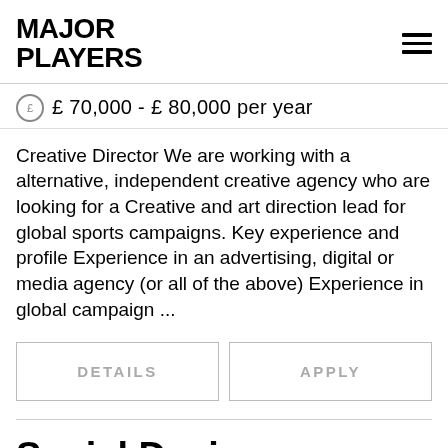MAJOR PLAYERS
£ 70,000 - £ 80,000 per year
Creative Director We are working with a alternative, independent creative agency who are looking for a Creative and art direction lead for global sports campaigns. Key experience and profile Experience in an advertising, digital or media agency (or all of the above) Experience in global campaign ...
DETAILS
APPLY
Social Designer